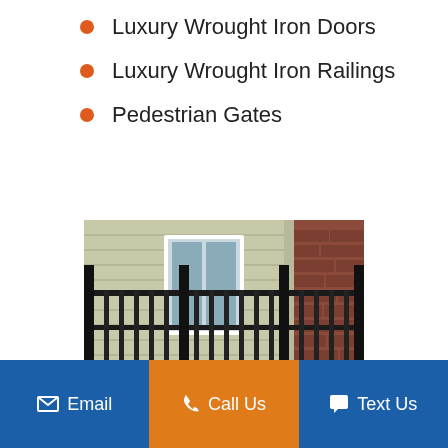Luxury Wrought Iron Doors
Luxury Wrought Iron Railings
Pedestrian Gates
[Figure (photo): Black wrought iron railing/fence in front of a house with beige siding, white door, and brick wall]
Email  |  Call Us  |  Text Us